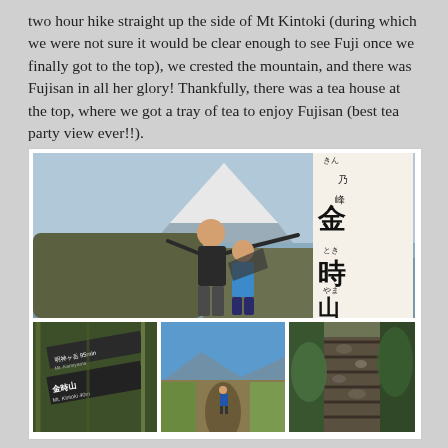two hour hike straight up the side of Mt Kintoki (during which we were not sure it would be clear enough to see Fuji once we finally got to the top), we crested the mountain, and there was Fujisan in all her glory! Thankfully, there was a tea house at the top, where we got a tray of tea to enjoy Fujisan (best tea party view ever!!).
[Figure (photo): Collage of four photos from Mt Kintoki hike. Top large photo: two hikers posing with arms outstretched with Mt Fuji visible in background, next to a large wooden sign with Japanese kanji for Kintoki-yama (金時山). Bottom left: trail signpost showing Japanese characters and 'Mt. Kintoki 40m'. Bottom middle: hiker on open trail with mountain panorama. Bottom right: rocky stone steps trail through forest.]